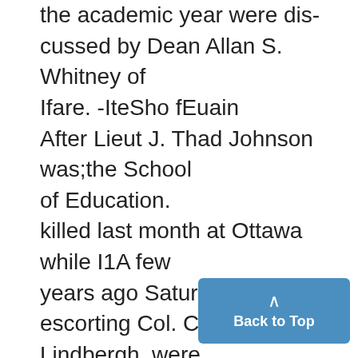the academic year were dis-cussed by Dean Allan S. Whitney of Ifare. -IteSho fEuain After Lieut J. Thad Johnson was;the School of Education. killed last month at Ottawa while I1A few years ago Saturday classes escorting Col. Charles A. Lindbergh, were utilized largely by undergradu- - Lieut Schulze succeeded Johnson as 'ates, butttheyhave gradually changed commndin ~~ficerof te Twnty- until at the present time they are or-l t commanding officer of the Tw
[Figure (other): Back to Top button — a teal/blue rounded rectangle with an upward caret arrow and the text 'Back to Top']